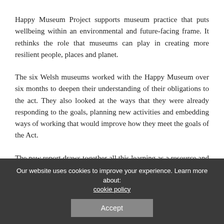Happy Museum Project supports museum practice that puts wellbeing within an environmental and future-facing frame. It rethinks the role that museums can play in creating more resilient people, places and planet.
The six Welsh museums worked with the Happy Museum over six months to deepen their understanding of their obligations to the act. They also looked at the ways that they were already responding to the goals, planning new activities and embedding ways of working that would improve how they meet the goals of the Act.
The new report draws together all this learning as a resource and inspiration for museums across Wales and to help them
Our website uses cookies to improve your experience. Learn more about: cookie policy
Accept